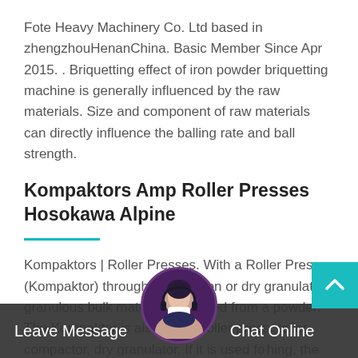Fote Heavy Machinery Co. Ltd based in zhengzhouHenanChina. Basic Member Since Apr 2015. . Briquetting effect of iron powder briquetting machine is generally influenced by the raw materials. Size and component of raw materials can directly influence the balling rate and ball strength.
Kompaktors Amp Roller Presses Hosokawa Alpine
Kompaktors | Roller Presses. With a Roller Press (Kompaktor) through compaction or dry granulation granulous bulk material is created from a powder. The Kompaktor is also called roller press, roller compactor, dry granulator. If it is used for sizing, the Kompaktor is also called pressure roll mill. Comp...
Leave Message   Chat Online